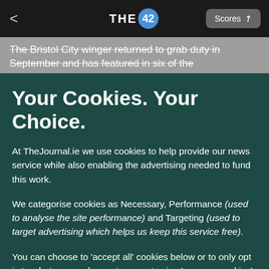THE 42 | Scores
The Bristol City winger returned to grab duty in September and has featured in six of the
Your Cookies. Your Choice.
At TheJournal.ie we use cookies to help provide our news service while also enabling the advertising needed to fund this work.
We categorise cookies as Necessary, Performance (used to analyse the site performance) and Targeting (used to target advertising which helps us keep this service free).
You can choose to 'accept all' cookies below or to only opt in to what you are happy to accept using 'manage cookies'. You can also change your cookie settings at any time and learn more about how we use cookies in our Privacy Policy